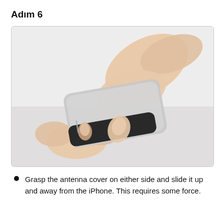Adım 6
[Figure (photo): Hands grasping an iPhone, pulling the black antenna cover away from the silver body of the device. One hand holds the silver back, while the other grips the black bottom antenna cover, sliding it upward.]
Grasp the antenna cover on either side and slide it up and away from the iPhone. This requires some force.